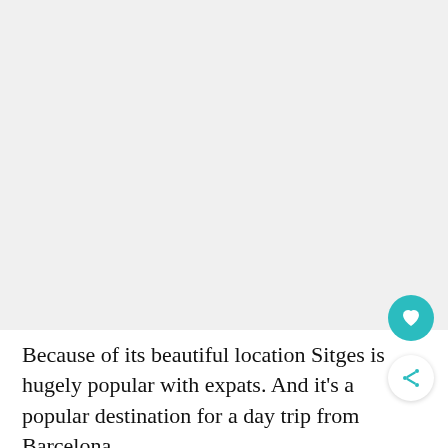[Figure (photo): Large placeholder image area, light grey background, likely a photo of Sitges location]
Because of its beautiful location Sitges is hugely popular with expats. And it's a popular destination for a day trip from Barcelona.